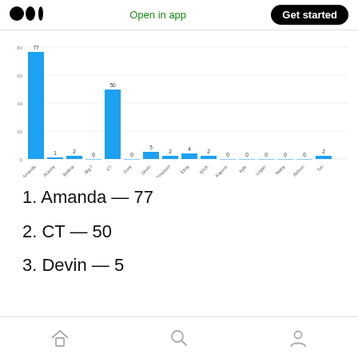Medium logo | Open in app | Get started
[Figure (bar-chart): Times Chosen by Contestant]
1. Amanda — 77
2. CT — 50
3. Devin — 5
Home | Search | Profile